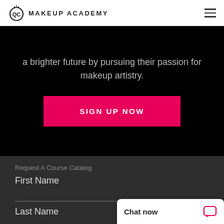QC Makeup Academy
a brighter future by pursuing their passion for makeup artistry.
SIGN UP NOW
Request A Course Catalog
First Name
Last Name
Chat now